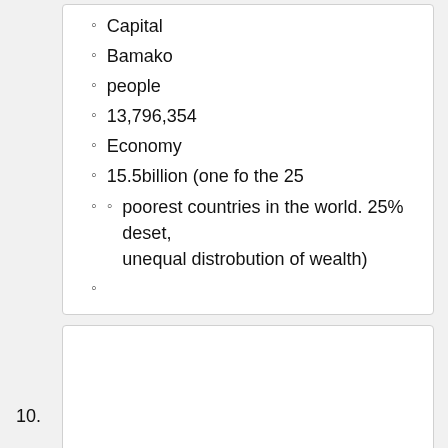Capital
Bamako
people
13,796,354
Economy
15.5billion (one fo the 25
poorest countries in the world. 25% deset, unequal distrobution of wealth)
Niger
Capital
Naimey
people
15,878,271